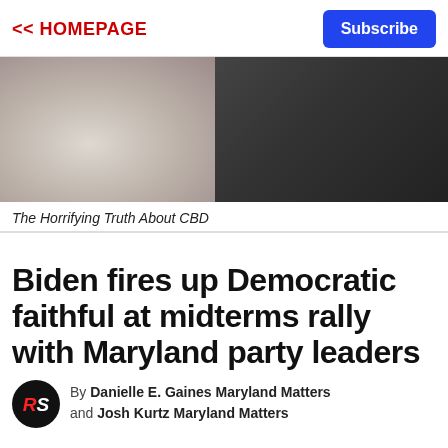<< HOMEPAGE | Subscribe
[Figure (photo): Close-up photo of two people, one with blonde hair wearing a light patterned top, and one wearing a dark suit with a red plaid tie/scarf]
The Horrifying Truth About CBD
Biden fires up Democratic faithful at midterms rally with Maryland party leaders
By Danielle E. Gaines Maryland Matters and Josh Kurtz Maryland Matters